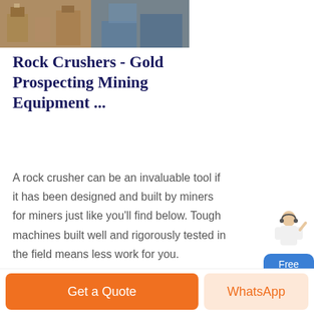[Figure (photo): Photograph of mining/rock crushing equipment facility interior]
Rock Crushers - Gold Prospecting Mining Equipment ...
A rock crusher can be an invaluable tool if it has been designed and built by miners for miners just like you'll find below. Tough machines built well and rigorously tested in the field means less work for you. Warranted by the manufacturers. Powered Rock Crushers. Electric or gas powered rock crushers for
[Figure (illustration): Chat widget with person figure and 'Free chat' button]
Get a Quote
WhatsApp